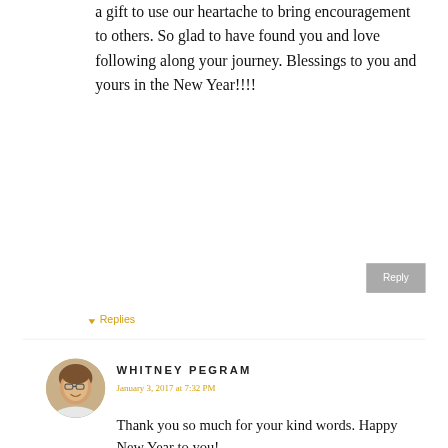a gift to use our heartache to bring encouragement to others. So glad to have found you and love following along your journey. Blessings to you and yours in the New Year!!!!
Reply
▾ Replies
[Figure (photo): Circular avatar photo of Whitney Pegram, a woman with glasses and a teal necklace]
WHITNEY PEGRAM
January 3, 2017 at 7:32 PM
Thank you so much for your kind words. Happy New Year to you!
Reply
To leave a comment, click the button below to sign in with Google.